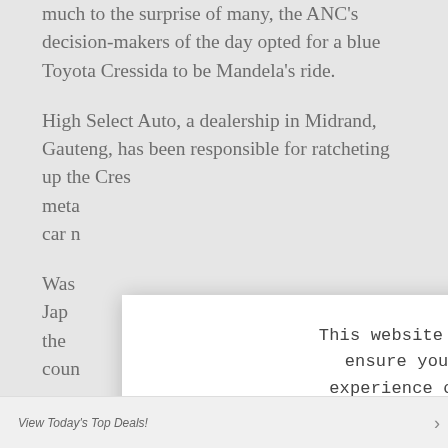much to the surprise of many, the ANC's decision-makers of the day opted for a blue Toyota Cressida to be Mandela's ride.
High Select Auto, a dealership in Midrand, Gauteng, has been responsible for ratcheting up the Cressida's meta car m
Was Japa the coun
[Figure (screenshot): Cookie consent modal dialog overlay on top of article text. Modal contains text 'This website uses cookies to ensure you get the best experience on our website.' followed by bold 'LEARN MORE.' and a blue 'ACCEPT COOKIES' button. A close X button is in the top-right corner of the modal.]
View Today's Top Deals!